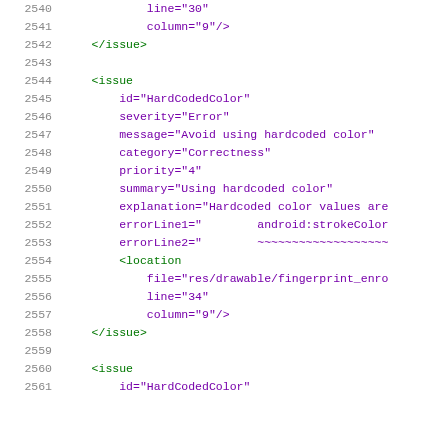[Figure (screenshot): Source code viewer showing XML lint report lines 2540-2561 with line numbers on the left, XML tags in green, attribute names in purple, and attribute values in green.]